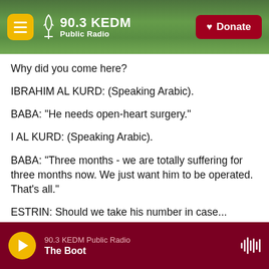[Figure (screenshot): 90.3 KEDM Public Radio website header with logo on green tree background and Donate button]
Why did you come here?
IBRAHIM AL KURD: (Speaking Arabic).
BABA: "He needs open-heart surgery."
I AL KURD: (Speaking Arabic).
BABA: "Three months - we are totally suffering for three months now. We just want him to be operated. That's all."
ESTRIN: Should we take his number in case...
90.3 KEDM Public Radio | The Boot